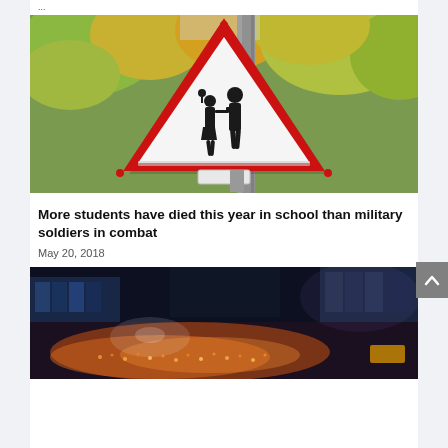...
[Figure (photo): A triangular red warning road sign showing silhouettes of children crossing, mounted on a metal pole with autumn trees in the background.]
More students have died this year in school than military soldiers in combat
May 20, 2018
[Figure (photo): Aerial night view of a modern urban plaza with glass buildings, crowds of people, and warm illuminated lighting.]